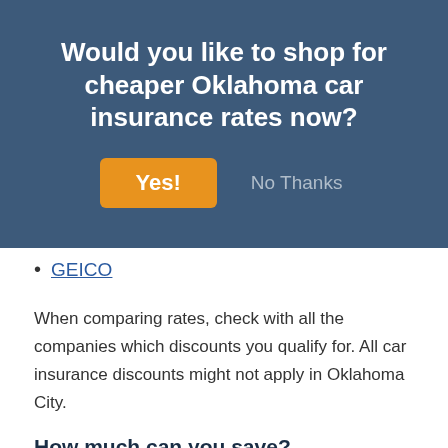[Figure (screenshot): Modal dialog overlay with dark blue background asking 'Would you like to shop for cheaper Oklahoma car insurance rates now?' with a Yes! button in orange and a No Thanks text button]
GEICO
When comparing rates, check with all the companies which discounts you qualify for. All car insurance discounts might not apply in Oklahoma City.
How much can you save?
As you shop your coverage around, it’s very important that you do not sacrifice coverage to reduce premiums. There are a lot of situations where someone dropped comprehensive coverage or liability limits and learned later that a couple dollars of savings turned into a